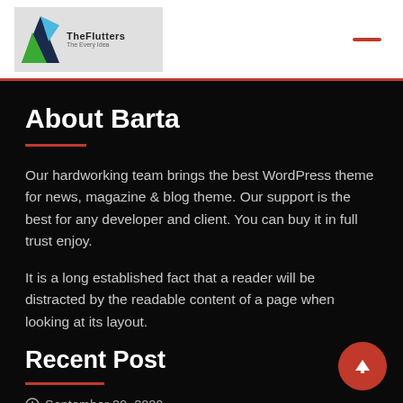[Figure (logo): TheFlutters logo with triangular graphic and tagline]
About Barta
Our hardworking team brings the best WordPress theme for news, magazine & blog theme. Our support is the best for any developer and client. You can buy it in full trust enjoy.
It is a long established fact that a reader will be distracted by the readable content of a page when looking at its layout.
Recent Post
September 20, 2020
An Easy Guide for Hacking Instagram Accounts